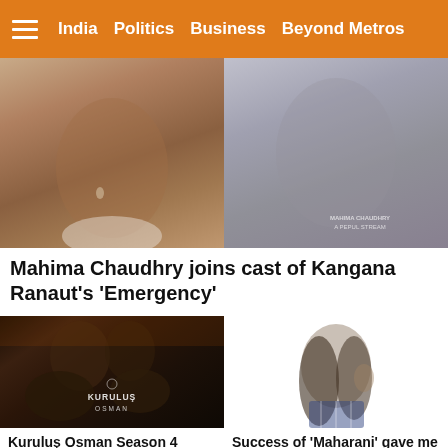India   Politics   Business   Beyond Metros
[Figure (photo): Two women — Kangana Ranaut (left, in period costume) and Mahima Chaudhry (right, in modern look) — composite image for the film Emergency]
Mahima Chaudhry joins cast of Kangana Ranaut's 'Emergency'
[Figure (photo): Movie poster for Kuruluş Osman Season 4, showing warriors in dark medieval setting with the Kuruluş Osman logo]
[Figure (photo): Portrait of a woman with long brown wavy hair against a grey background, related to Maharani series]
Kuruluş Osman Season 4 updates: Everything
Success of 'Maharani' gave me opportunities